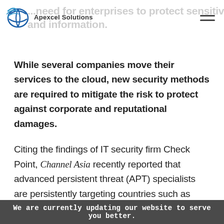Apexcel Solutions
While several companies move their services to the cloud, new security methods are required to mitigate the risk to protect against corporate and reputational damages.
Citing the findings of IT security firm Check Point, Channel Asia recently reported that advanced persistent threat (APT) specialists are persistently targeting countries such as Indonesia, Philippines, Vietnam, Thailand, Myanmar and Brunei.
We are currently updating our website to serve you better.